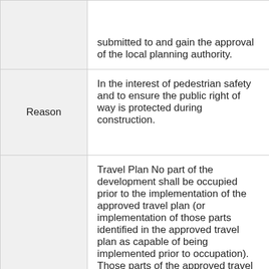|  | submitted to and gain the approval of the local planning authority. |
| Reason | In the interest of pedestrian safety and to ensure the public right of way is protected during construction. |
| Condition | Travel Plan No part of the development shall be occupied prior to the implementation of the approved travel plan (or implementation of those parts identified in the approved travel plan as capable of being implemented prior to occupation). Those parts of the approved travel plan that are identified therein as being capable of implementation after |